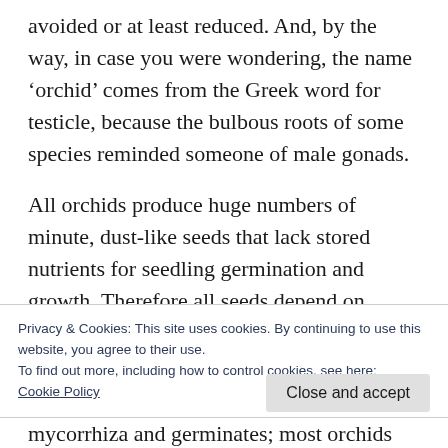avoided or at least reduced. And, by the way, in case you were wondering, the name ‘orchid’ comes from the Greek word for testicle, because the bulbous roots of some species reminded someone of male gonads.
All orchids produce huge numbers of minute, dust-like seeds that lack stored nutrients for seedling germination and growth. Therefore all seeds depend on forming associations with particular fungi (mycorrhizae) that bring in
Privacy & Cookies: This site uses cookies. By continuing to use this website, you agree to their use.
To find out more, including how to control cookies, see here:
Cookie Policy
mycorrhiza and germinates; most orchids